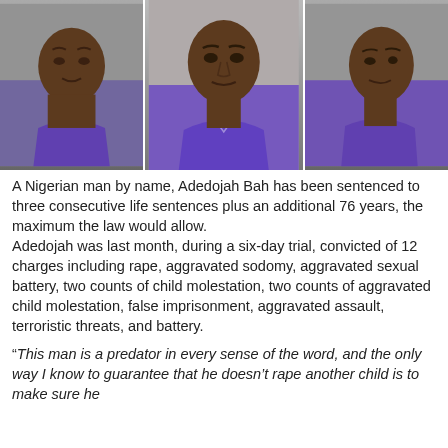[Figure (photo): Three mugshot photos of a man in a purple shirt, shown from slightly different angles side by side]
A Nigerian man by name, Adedojah Bah has been sentenced to three consecutive life sentences plus an additional 76 years, the maximum the law would allow. Adedojah was last month, during a six-day trial, convicted of 12 charges including rape, aggravated sodomy, aggravated sexual battery, two counts of child molestation, two counts of aggravated child molestation, false imprisonment, aggravated assault, terroristic threats, and battery.
“This man is a predator in every sense of the word, and the only way I know to guarantee that he doesn’t rape another child is to make sure he